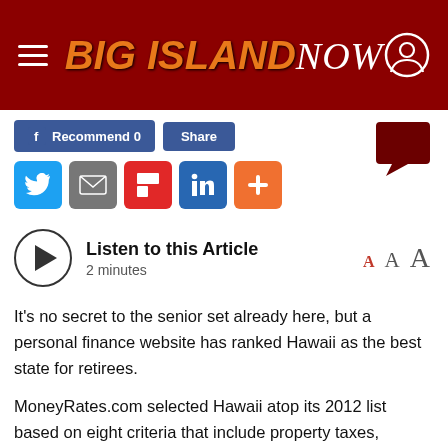BIG ISLAND NOW
[Figure (screenshot): Social share buttons: Facebook Recommend, Share, Twitter, Email, Flipboard, LinkedIn, Plus; and a comment bubble icon on the right]
[Figure (infographic): Listen to this Article widget with play button, duration '2 minutes', and font size controls (A A A)]
It's no secret to the senior set already here, but a personal finance website has ranked Hawaii as the best state for retirees.
MoneyRates.com selected Hawaii atop its 2012 list based on eight criteria that include property taxes, unemployment rate, violent crime rates, property tax rates and life expectancy for seniors.